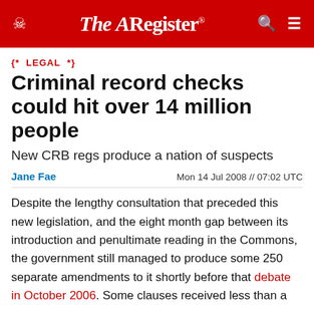The Register
{* LEGAL *}
Criminal record checks could hit over 14 million people
New CRB regs produce a nation of suspects
Jane Fae   Mon 14 Jul 2008 // 07:02 UTC
Despite the lengthy consultation that preceded this new legislation, and the eight month gap between its introduction and penultimate reading in the Commons, the government still managed to produce some 250 separate amendments to it shortly before that debate in October 2006. Some clauses received less than a